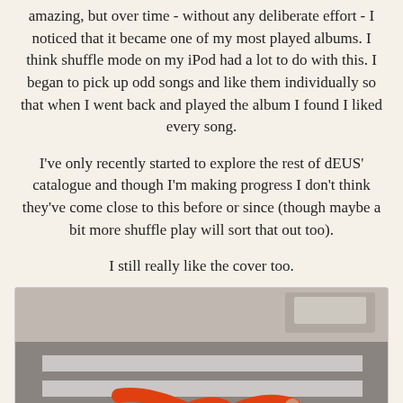amazing, but over time - without any deliberate effort - I noticed that it became one of my most played albums. I think shuffle mode on my iPod had a lot to do with this. I began to pick up odd songs and like them individually so that when I went back and played the album I found I liked every song.
I've only recently started to explore the rest of dEUS' catalogue and though I'm making progress I don't think they've come close to this before or since (though maybe a bit more shuffle play will sort that out too).
I still really like the cover too.
[Figure (photo): Album cover for dEUS 'The Ideal Crash' showing a person in an orange jacket crouching or falling on a zebra crossing street, photographed from above in a sepia/grey tone. Text at the bottom reads 'dEUS THE IDEAL CRASH' with dEUS in black and THE IDEAL CRASH in red.]